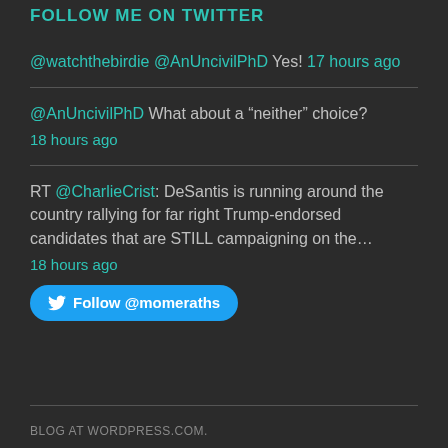FOLLOW ME ON TWITTER
@watchthebirdie @AnUncivilPhD Yes! 17 hours ago
@AnUncivilPhD What about a “neither” choice? 18 hours ago
RT @CharlieCrist: DeSantis is running around the country rallying for far right Trump-endorsed candidates that are STILL campaigning on the... 18 hours ago
Follow @momeraths
BLOG AT WORDPRESS.COM.